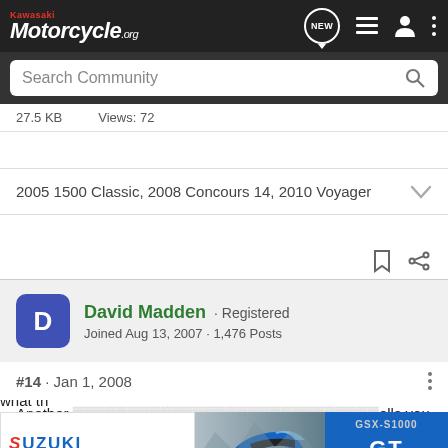Kawasaki Motorcycle.org — navigation bar with NEW, list, user, and menu icons
Search Community
27.5 KB · Views: 72
2005 1500 Classic, 2008 Concours 14, 2010 Voyager
David Madden · Registered
Joined Aug 13, 2007 · 1,476 Posts
#14 · Jan 1, 2008
Another ...ells you to keep ... Quess what th...
[Figure (screenshot): Suzuki GSX-S1000GT advertisement banner at the bottom of the page showing motorcycle and SEE IT NOW button]